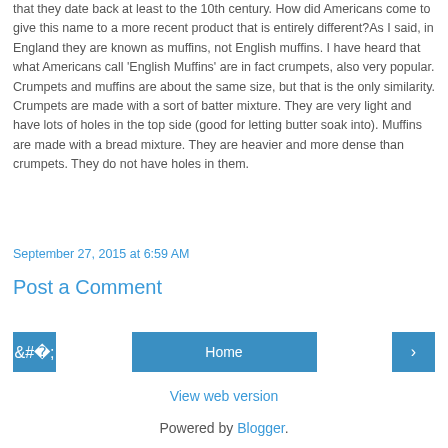that they date back at least to the 10th century. How did Americans come to give this name to a more recent product that is entirely different?As I said, in England they are known as muffins, not English muffins. I have heard that what Americans call 'English Muffins' are in fact crumpets, also very popular. Crumpets and muffins are about the same size, but that is the only similarity. Crumpets are made with a sort of batter mixture. They are very light and have lots of holes in the top side (good for letting butter soak into). Muffins are made with a bread mixture. They are heavier and more dense than crumpets. They do not have holes in them.
September 27, 2015 at 6:59 AM
Post a Comment
‹
Home
›
View web version
Powered by Blogger.